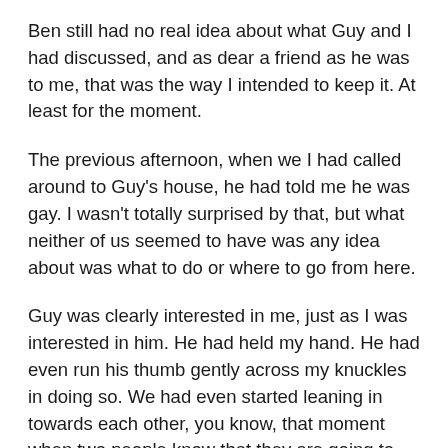Ben still had no real idea about what Guy and I had discussed, and as dear a friend as he was to me, that was the way I intended to keep it. At least for the moment.
The previous afternoon, when we I had called around to Guy's house, he had told me he was gay. I wasn't totally surprised by that, but what neither of us seemed to have was any idea about was what to do or where to go from here.
Guy was clearly interested in me, just as I was interested in him. He had held my hand. He had even run his thumb gently across my knuckles in doing so. We had even started leaning in towards each other, you know, that moment when two people know that they are going to kiss? But just then we had heard Ben thundering back up